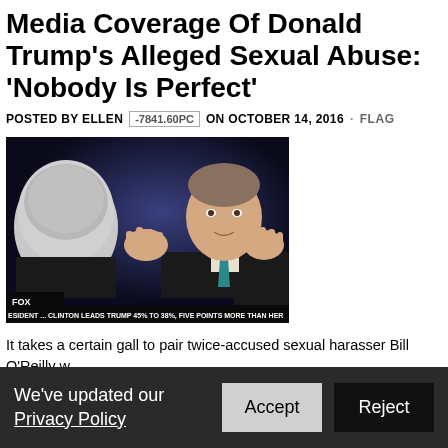Media Coverage Of Donald Trump's Alleged Sexual Abuse: 'Nobody Is Perfect'
POSTED BY ELLEN -7841.60PC ON OCTOBER 14, 2016 · FLAG
[Figure (photo): Fox News O'Reilly Factor screenshot showing two men in conversation, with chyron reading 'CLINTON LEADS TRUMP 45% TO 38%, FIVE POINTS MORE THAN HER']
It takes a certain gall to pair twice-accused sexual harasser Bill O'Reilly with serial adulterer Newt Gingrich as a team to complain about the media coverage of multiple allegations of Donald Trump's sexual abuse. Even
We've updated our Privacy Policy
Accept
Reject